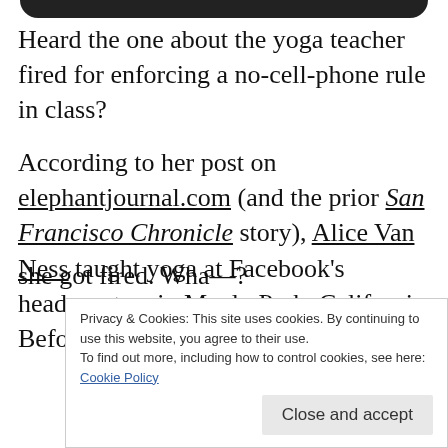[Figure (other): Dark rounded top bar element at top of page]
Heard the one about the yoga teacher fired for enforcing a no-cell-phone rule in class?
According to her post on elephantjournal.com (and the prior San Francisco Chronicle story), Alice Van Ness taught yoga at Facebook's headquarters in Menlo Park, California. Before class one day, she requested that students turn off cell phones... and she got fired. Wha—?
Privacy & Cookies: This site uses cookies. By continuing to use this website, you agree to their use.
To find out more, including how to control cookies, see here: Cookie Policy